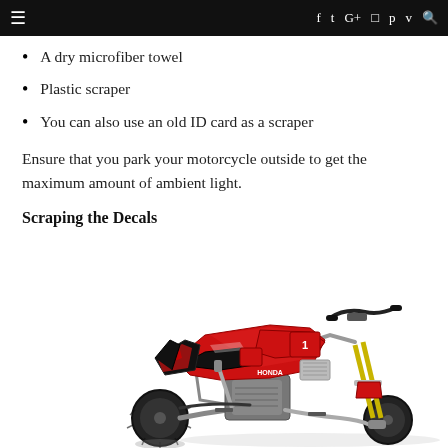≡  f  t  G+  ☐  p  v  🔍
A dry microfiber towel
Plastic scraper
You can also use an old ID card as a scraper
Ensure that you park your motorcycle outside to get the maximum amount of ambient light.
Scraping the Decals
[Figure (photo): A red and black Honda dirt bike / motocross motorcycle viewed from the left side, with decals visible on the body panels]